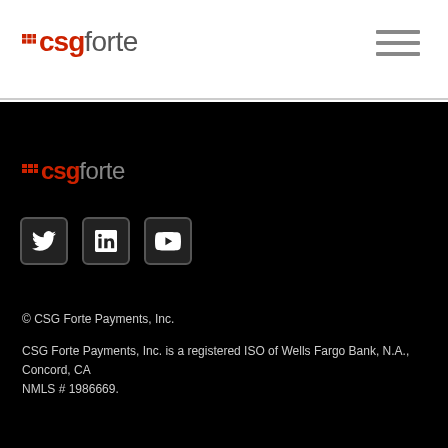csgforte
[Figure (logo): CSG Forte logo in black section with red 'csg' and grey 'forte' text]
[Figure (illustration): Social media icons: Twitter, LinkedIn, YouTube]
© CSG Forte Payments, Inc.
CSG Forte Payments, Inc. is a registered ISO of Wells Fargo Bank, N.A., Concord, CA
NMLS # 1986669.